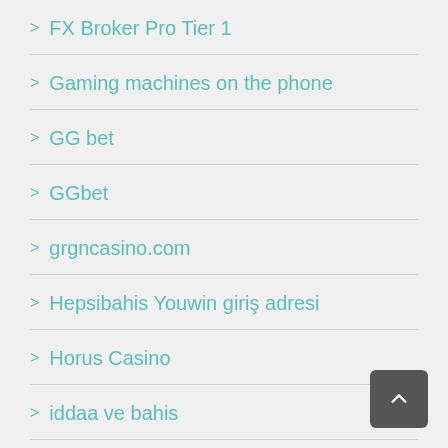FX Broker Pro Tier 1
Gaming machines on the phone
GG bet
GGbet
grgncasino.com
Hepsibahis Youwin giriş adresi
Horus Casino
iddaa ve bahis